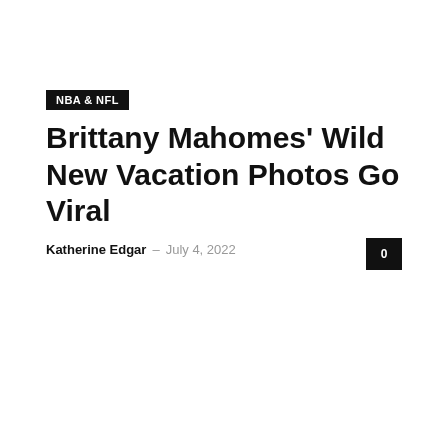NBA & NFL
Brittany Mahomes' Wild New Vacation Photos Go Viral
Katherine Edgar  –  July 4, 2022
[Figure (photo): Article image placeholder (white/blank area)]
NBA & NFL
Patrick Mahomes and Pregnant Brittany